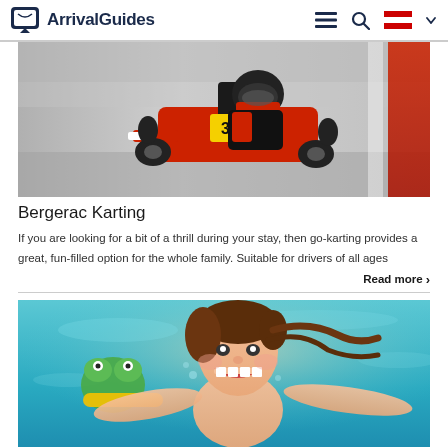ArrivalGuides
[Figure (photo): Go-kart racer wearing black helmet and suit driving a red kart numbered 33 on a racing track with motion blur background]
Bergerac Karting
If you are looking for a bit of a thrill during your stay, then go-karting provides a great, fun-filled option for the whole family. Suitable for drivers of all ages
Read more >
[Figure (photo): Young smiling child underwater in a swimming pool with arms outstretched, wearing a happy expression]
Jacquou Parc